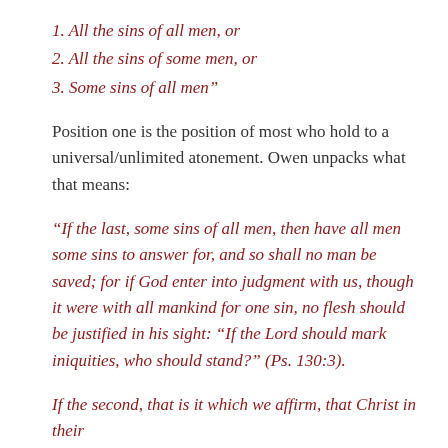1. All the sins of all men, or
2. All the sins of some men, or
3. Some sins of all men”
Position one is the position of most who hold to a universal/unlimited atonement. Owen unpacks what that means:
“If the last, some sins of all men, then have all men some sins to answer for, and so shall no man be saved; for if God enter into judgment with us, though it were with all mankind for one sin, no flesh should be justified in his sight: “If the Lord should mark iniquities, who should stand?” (Ps. 130:3).
If the second, that is it which we affirm, that Christ in their